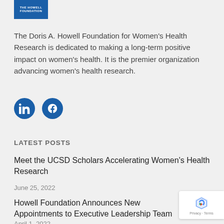[Figure (logo): The Howell Foundation logo - blue rectangle with white text reading THE HOWELL FOUNDATION]
The Doris A. Howell Foundation for Women’s Health Research is dedicated to making a long-term positive impact on women’s health. It is the premier organization advancing women’s health research.
[Figure (illustration): LinkedIn and Facebook social media icons as blue circles with white logos]
LATEST POSTS
Meet the UCSD Scholars Accelerating Women’s Health Research
June 25, 2022
Howell Foundation Announces New Appointments to Executive Leadership Team
April 1, 2022